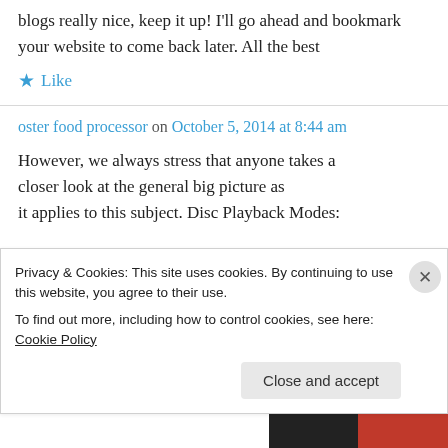blogs really nice, keep it up! I'll go ahead and bookmark your website to come back later. All the best
★ Like
oster food processor on October 5, 2014 at 8:44 am
However, we always stress that anyone takes a closer look at the general big picture as it applies to this subject. Disc Playback Modes:
Privacy & Cookies: This site uses cookies. By continuing to use this website, you agree to their use.
To find out more, including how to control cookies, see here: Cookie Policy
Close and accept